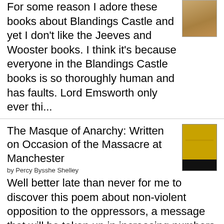For some reason I adore these books about Blandings Castle and yet I don't like the Jeeves and Wooster books. I think it's because everyone in the Blandings Castle books is so thoroughly human and has faults. Lord Emsworth only ever thi...
The Masque of Anarchy: Written on Occasion of the Massacre at Manchester
by Percy Bysshe Shelley
Well better late than never for me to discover this poem about non-violent opposition to the oppressors, a message that will be taken up in increasing numbers as governments become more and more unpopular over the next year or so. This...
The Heights of Zervos / Avalanche Express